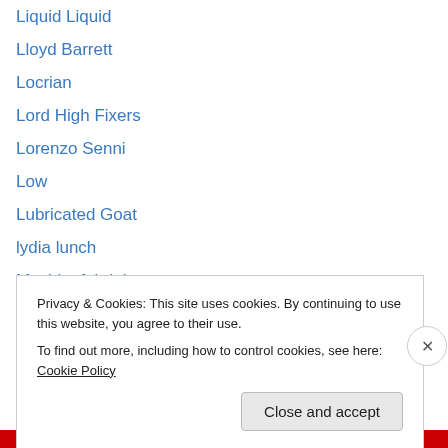Liquid Liquid
Lloyd Barrett
Locrian
Lord High Fixers
Lorenzo Senni
Low
Lubricated Goat
lydia lunch
Machinefabriek
Mamuthones
Masonna
math rock
Mattin
Max Bondi
Privacy & Cookies: This site uses cookies. By continuing to use this website, you agree to their use.
To find out more, including how to control cookies, see here: Cookie Policy
Close and accept